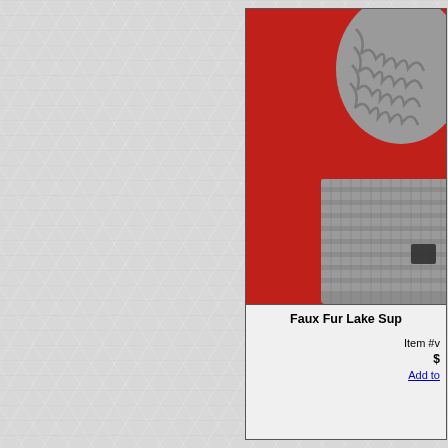[Figure (photo): Gray cable-knit winter hat/beanie with ribbed brim, photographed on a red background. The hat appears to be a faux fur Lake Superior style hat. Only the right portion of the product card is visible, cut off at the left edge.]
Faux Fur Lake Sup...
Item #v
$
Add to...